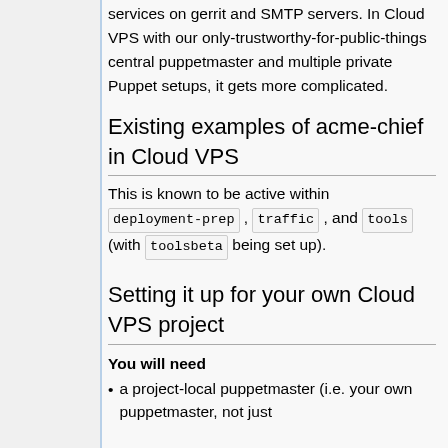services on gerrit and SMTP servers. In Cloud VPS with our only-trustworthy-for-public-things central puppetmaster and multiple private Puppet setups, it gets more complicated.
Existing examples of acme-chief in Cloud VPS
This is known to be active within deployment-prep , traffic , and tools (with toolsbeta being set up).
Setting it up for your own Cloud VPS project
You will need
a project-local puppetmaster (i.e. your own puppetmaster, not just